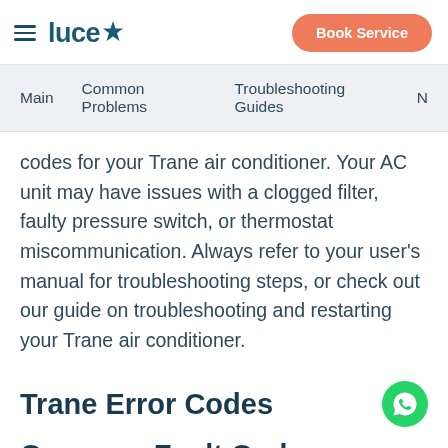luce ✦  Book Service
Main   Common Problems   Troubleshooting Guides   N…
codes for your Trane air conditioner. Your AC unit may have issues with a clogged filter, faulty pressure switch, or thermostat miscommunication. Always refer to your user's manual for troubleshooting steps, or check out our guide on troubleshooting and restarting your Trane air conditioner.
Trane Error Codes
Common Fault Codes…